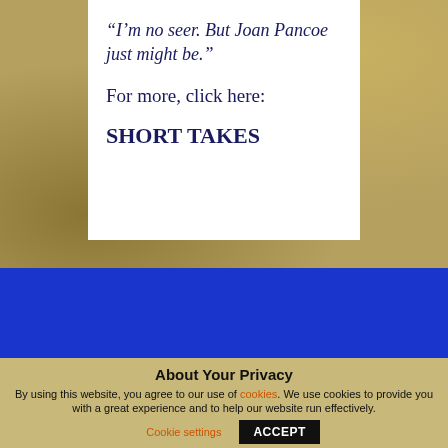“I’m no seer. But Joan Pancoe just might be.”
For more, click here:
SHORT TAKES
[Figure (other): Blue background section, part of website layout]
About Your Privacy
By using this website, you agree to our use of cookies. We use cookies to provide you with a great experience and to help our website run effectively.
Cookie settings  ACCEPT